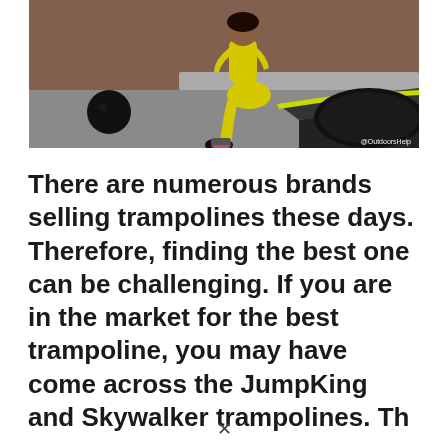[Figure (photo): A woman in a yellow athletic outfit sitting on a small mini trampoline in a gym setting with a brick wall background. A black medicine ball is visible on the left. The trampoline has a yellow/black octagonal frame. Watermark reads '@OutdoorsHelp' in the bottom right.]
There are numerous brands selling trampolines these days. Therefore, finding the best one can be challenging. If you are in the market for the best trampoline, you may have come across the JumpKing and Skywalker trampolines. The...